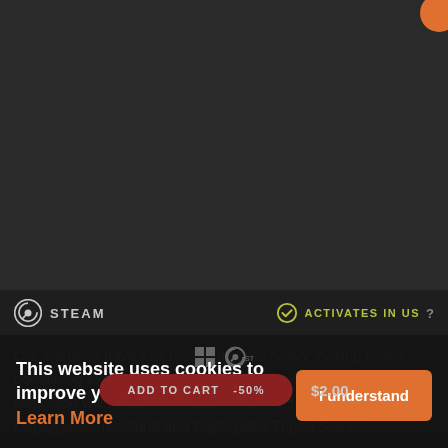[Figure (screenshot): Steam store page screenshot showing a dark background game product page]
STEAM
ACTIVATES IN US ?
Our wardens have just received some heavy looking boxes containing exciting new hunting equipment. With this new pack, you will be able to create the perfect ambush using the Deployable Treestand and Deployable Tripod Stands.
This website uses cookies to improve your experience. Learn More
I understand
ADD TO CART  -50%  $2.00